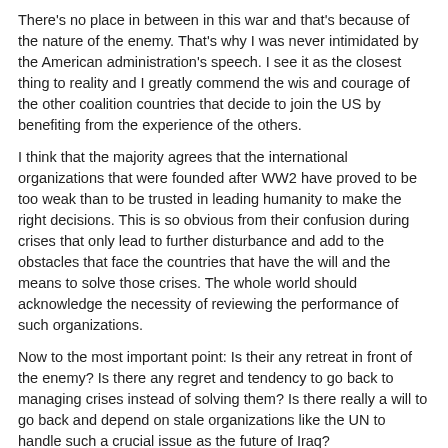There's no place in between in this war and that's because of the nature of the enemy. That's why I was never intimidated by the American administration's speech. I see it as the closest thing to reality and I greatly commend the wis and courage of the other coalition countries that decide to join the US by benefiting from the experience of the others.
I think that the majority agrees that the international organizations that were founded after WW2 have proved to be too weak than to be trusted in leading humanity to make the right decisions. This is so obvious from their confusion during crises that only lead to further disturbance and add to the obstacles that face the countries that have the will and the means to solve those crises. The whole world should acknowledge the necessity of reviewing the performance of such organizations.
Now to the most important point: Is their any retreat in front of the enemy? Is there any regret and tendency to go back to managing crises instead of solving them? Is there really a will to go back and depend on stale organizations like the UN to handle such a crucial issue as the future of Iraq?
I don't know what exactly is on the mind of the American administration and exactly their intentions are, but I know that it's absolutely wrong in this stage with the existing threats to go back to the old policy, and I know that the coalition has the capabilities and the strength to defeat the enemy.
This war demands great determination, patience and faith on the parts of th